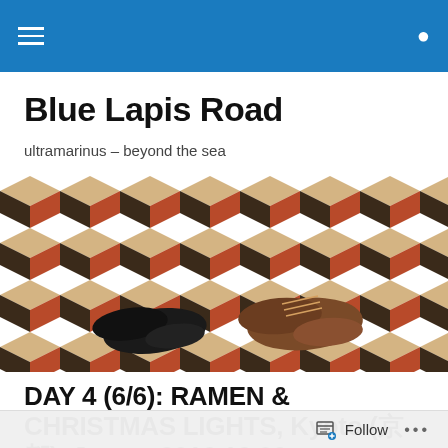Blue Lapis Road — navigation header with hamburger menu and search icon
Blue Lapis Road
ultramarinus – beyond the sea
[Figure (photo): Top-down view of two pairs of feet/shoes standing on a geometric 3D cube pattern tile floor in terracotta, black, and beige tones]
DAY 4 (6/6): RAMEN & CHRISTMAS LIGHTS, Kyoto (京都), Japan, 2016.12.06
Follow